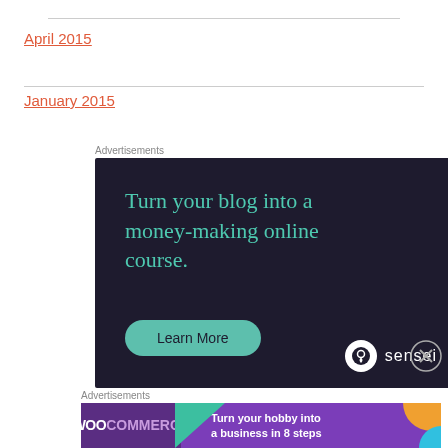April 2015
January 2015
Advertisements
[Figure (illustration): Sensei ad: dark background with teal text 'Turn your blog into a money-making online course.' and a Learn More button with Sensei logo.]
[Figure (illustration): Close/dismiss button (X circle) for the Sensei advertisement.]
Advertisements
[Figure (illustration): WooCommerce ad: purple background with WooCommerce logo and text 'Turn your hobby into a business in 8 steps' with decorative triangles.]